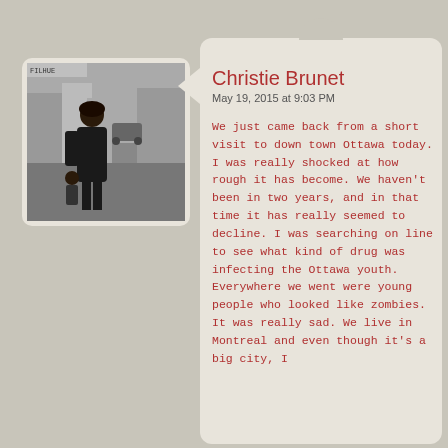[Figure (photo): Black and white profile photo of a woman standing outdoors on a street]
Christie Brunet
May 19, 2015 at 9:03 PM
We just came back from a short visit to down town Ottawa today. I was really shocked at how rough it has become. We haven't been in two years, and in that time it has really seemed to decline. I was searching on line to see what kind of drug was infecting the Ottawa youth. Everywhere we went were young people who looked like zombies. It was really sad. We live in Montreal and even though it's a big city, I